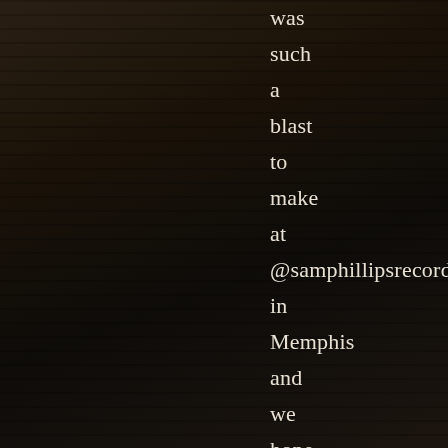was such a blast to make at @samphillipsrecording in Memphis and we hope you'll enjoy it.
Spotify
Apple